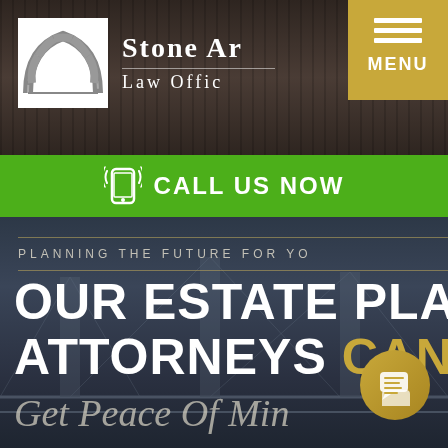[Figure (logo): Stone Arch Law Office logo with stone arch icon and firm name]
[Figure (other): Gold menu button with three horizontal lines and MENU text]
CALL US NOW
PLANNING THE FUTURE FOR YO...
OUR ESTATE PLA... ATTORNEYS CAN HE...
Get Peace Of Min...